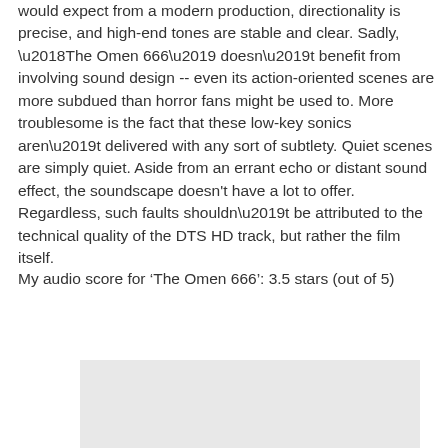would expect from a modern production, directionality is precise, and high-end tones are stable and clear. Sadly, ‘The Omen 666’ doesn’t benefit from involving sound design -- even its action-oriented scenes are more subdued than horror fans might be used to. More troublesome is the fact that these low-key sonics aren’t delivered with any sort of subtlety. Quiet scenes are simply quiet. Aside from an errant echo or distant sound effect, the soundscape doesn't have a lot to offer. Regardless, such faults shouldn’t be attributed to the technical quality of the DTS HD track, but rather the film itself.
My audio score for ‘The Omen 666’: 3.5 stars (out of 5)
[Figure (other): Gray rectangular image placeholder area]